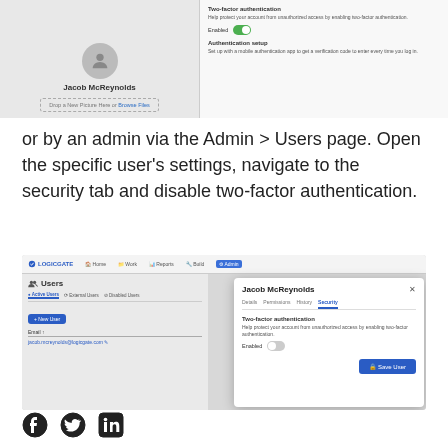[Figure (screenshot): Top screenshot showing user profile settings with Two-factor authentication section (Enabled toggle on) and Authentication setup section, alongside Jacob McReynolds avatar and drop zone for photo upload.]
or by an admin via the Admin > Users page. Open the specific user’s settings, navigate to the security tab and disable two-factor authentication.
[Figure (screenshot): Screenshot of LogicGate admin Users page showing Active Users, External Users, Disabled Users tabs, New User button, jacob.mcreynolds@logicgate.com user, and a modal dialog for Jacob McReynolds open on the Security tab with Two-factor authentication Enabled toggle off and a Save User button.]
[Figure (other): Social media icons: Facebook, Twitter, LinkedIn]